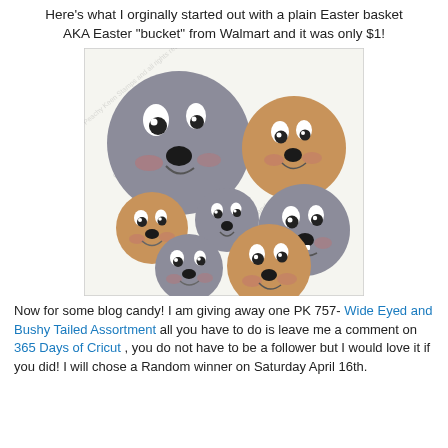Here's what I orginally started out with a plain Easter basket AKA Easter "bucket" from Walmart and it was only $1!
[Figure (illustration): A sheet of cartoon animal face stickers (seal/bunny faces) in gray and tan/brown colors, various sizes, with watermark text repeating across the image.]
Now for some blog candy! I am giving away one PK 757- Wide Eyed and Bushy Tailed Assortment all you have to do is leave me a comment on 365 Days of Cricut , you do not have to be a follower but I would love it if you did! I will chose a Random winner on Saturday April 16th.